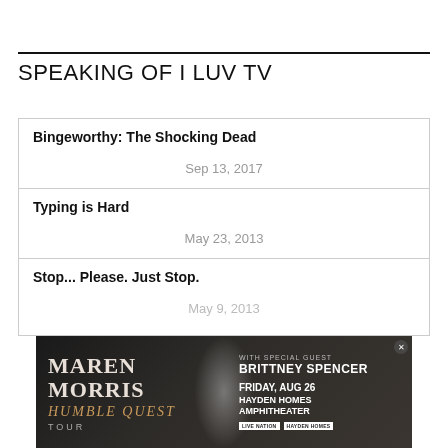SPEAKING OF I LUV TV
Bingeworthy: The Shocking Dead
Sep 13, 2017
Typing is Hard
May 23, 2013
Stop... Please. Just Stop.
May 9, 2013
[Figure (infographic): Advertisement banner for Maren Morris Humble Quest Tour with special guest Brittney Spencer, Friday Aug 26, Hayden Homes Amphitheater, with Live Nation and Hayden Homes logos]